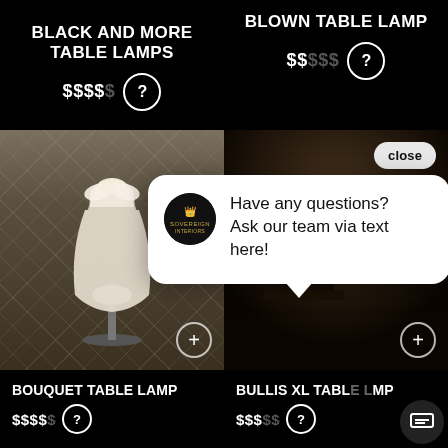BLACK AND MORE TABLE LAMPS
$$$$$
BLOWN TABLE LAMP
$$$$
[Figure (photo): White bouquet/flower-shaped table lamp against diamond-pattern textured wall background]
[Figure (photo): Dark background with table lamp, partially obscured by chat popup]
close
Have any questions? Ask our team via text here!
BOUQUET TABLE LAMP
$$$$$
BULLIS XL TABLE LAMP
$$$$$